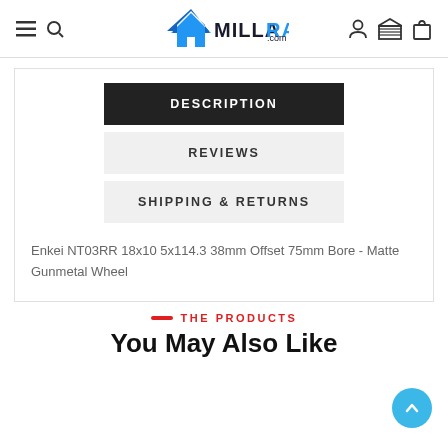MILLARACING.com
DESCRIPTION
REVIEWS
SHIPPING & RETURNS
Enkei NT03RR 18x10 5x114.3 38mm Offset 75mm Bore - Matte Gunmetal Wheel
THE PRODUCTS
You May Also Like